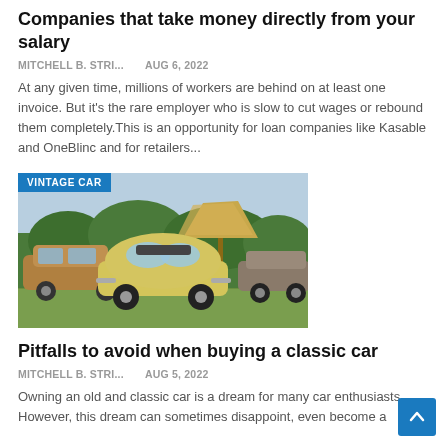Companies that take money directly from your salary
MITCHELL B. STRI...   Aug 6, 2022
At any given time, millions of workers are behind on at least one invoice. But it's the rare employer who is slow to cut wages or rebound them completely.This is an opportunity for loan companies like Kasable and OneBlinc and for retailers...
[Figure (photo): Vintage car photo showing a yellow Volkswagen Beetle convertible and other classic cars parked on grass at an outdoor event, with a thatched umbrella visible in the background. A blue badge reads 'VINTAGE CAR'.]
Pitfalls to avoid when buying a classic car
MITCHELL B. STRI...   Aug 5, 2022
Owning an old and classic car is a dream for many car enthusiasts. However, this dream can sometimes disappoint, even become a